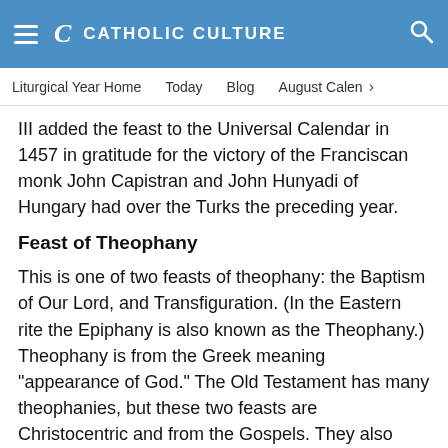CATHOLIC CULTURE
Liturgical Year Home   Today   Blog   August Calendar
III added the feast to the Universal Calendar in 1457 in gratitude for the victory of the Franciscan monk John Capistran and John Hunyadi of Hungary had over the Turks the preceding year.
Feast of Theophany
This is one of two feasts of theophany: the Baptism of Our Lord, and Transfiguration. (In the Eastern rite the Epiphany is also known as the Theophany.) Theophany is from the Greek meaning "appearance of God." The Old Testament has many theophanies, but these two feasts are Christocentric and from the Gospels. They also mark the explicit presence of all three persons of the Blessed Trinity.